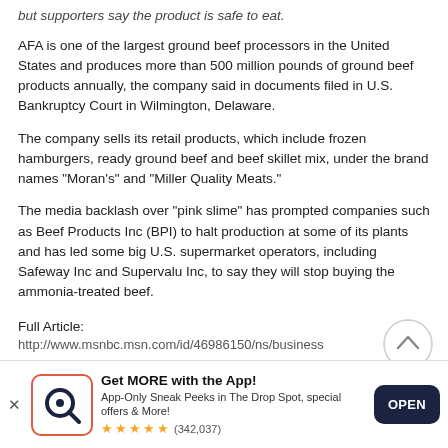but supporters say the product is safe to eat.
AFA is one of the largest ground beef processors in the United States and produces more than 500 million pounds of ground beef products annually, the company said in documents filed in U.S. Bankruptcy Court in Wilmington, Delaware.
The company sells its retail products, which include frozen hamburgers, ready ground beef and beef skillet mix, under the brand names "Moran's" and "Miller Quality Meats."
The media backlash over "pink slime" has prompted companies such as Beef Products Inc (BPI) to halt production at some of its plants and has led some big U.S. supermarket operators, including Safeway Inc and Supervalu Inc, to say they will stop buying the ammonia-treated beef.
Full Article:
http://www.msnbc.msn.com/id/46986150/ns/business...
[Figure (other): Advertisement banner for Quora app with logo, text 'Get MORE with the App!', rating (342,037), and OPEN button]